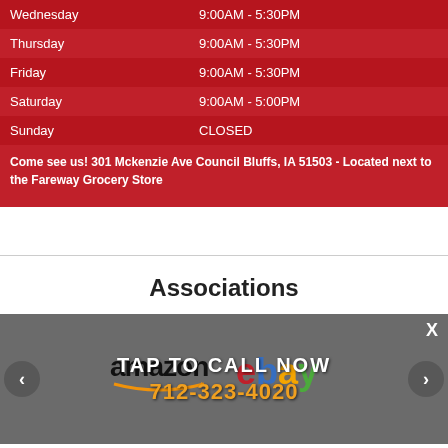| Wednesday | 9:00AM - 5:30PM |
| Thursday | 9:00AM - 5:30PM |
| Friday | 9:00AM - 5:30PM |
| Saturday | 9:00AM - 5:00PM |
| Sunday | CLOSED |
Come see us! 301 Mckenzie Ave Council Bluffs, IA 51503 - Located next to the Fareway Grocery Store
Associations
[Figure (other): Advertisement overlay showing Amazon and eBay logos with TAP TO CALL NOW text and phone number 712-323-4020, with navigation arrows and close button]